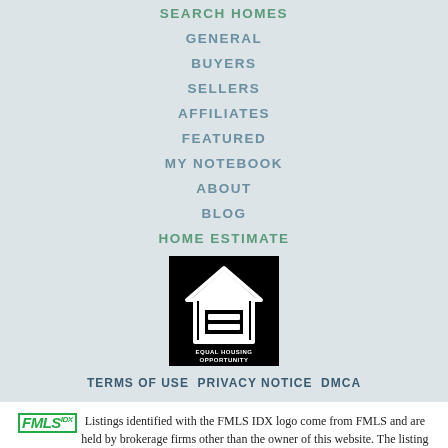SEARCH HOMES
GENERAL
BUYERS
SELLERS
AFFILIATES
FEATURED
MY NOTEBOOK
ABOUT
BLOG
HOME ESTIMATE
[Figure (logo): Equal Housing Opportunity logo — black square with white house icon and text 'EQUAL HOUSING OPPORTUNITY']
TERMS OF USE  PRIVACY NOTICE  DMCA
Listings identified with the FMLS IDX logo come from FMLS and are held by brokerage firms other than the owner of this website. The listing brokerage is identified in any listing details. Information is deemed reliable but is not guaranteed.